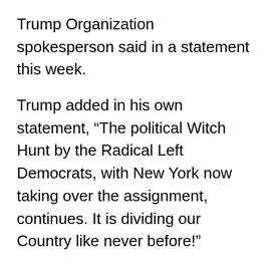Trump Organization spokesperson said in a statement this week.
Trump added in his own statement, “The political Witch Hunt by the Radical Left Democrats, with New York now taking over the assignment, continues. It is dividing our Country like never before!”
According to the prosecutors’ court filings, Weisselberg was engaged in a scheme to funnel off-the-books income to himself and other executives at the company. The Trump Organization allegedly financed Weisselberg’s luxurious lifestyle, paying the rent for his Manhattan apartment, his living expenses,